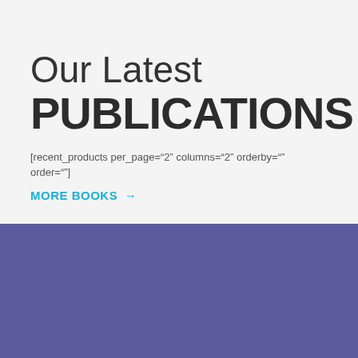Our Latest PUBLICATIONS
[recent_products per_page="2" columns="2" orderby="" order=""]
MORE BOOKS →